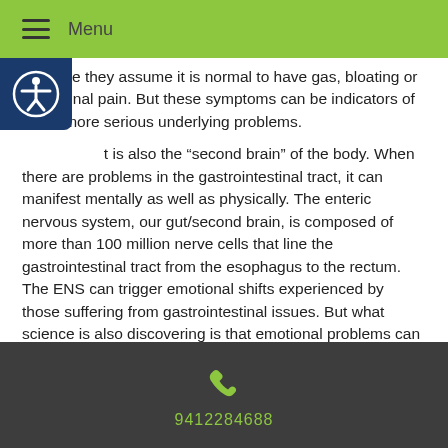Menu
because they assume it is normal to have gas, bloating or abdominal pain. But these symptoms can be indicators of much more serious underlying problems.
...t is also the “second brain” of the body. When there are problems in the gastrointestinal tract, it can manifest mentally as well as physically. The enteric nervous system, our gut/second brain, is composed of more than 100 million nerve cells that line the gastrointestinal tract from the esophagus to the rectum. The ENS can trigger emotional shifts experienced by those suffering from gastrointestinal issues. But what science is also discovering is that emotional problems can also trigger issues in the ENS. It’s a two-way street and if one is out of whack, then the other may be also.
There are ways we can help our gastrointestinal tract and digestion,
9412284688